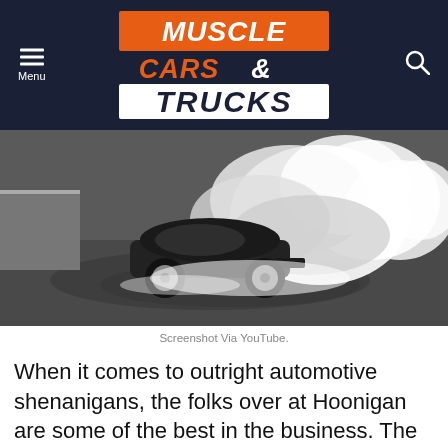Muscle Cars & Trucks
[Figure (photo): Black and white photo of a sports car doing a burnout/drift with large clouds of tire smoke on a track or parking lot]
Screenshot Via YouTube.
When it comes to outright automotive shenanigans, the folks over at Hoonigan are some of the best in the business. The team is known for their outlandish